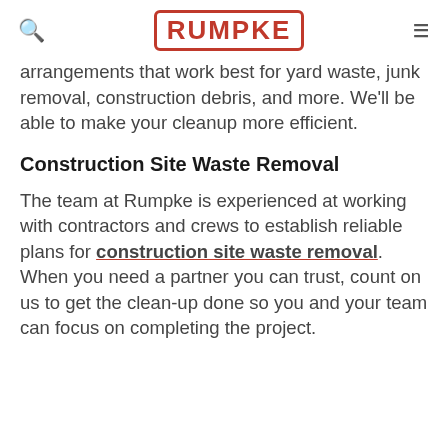RUMPKE
arrangements that work best for yard waste, junk removal, construction debris, and more. We'll be able to make your cleanup more efficient.
Construction Site Waste Removal
The team at Rumpke is experienced at working with contractors and crews to establish reliable plans for construction site waste removal. When you need a partner you can trust, count on us to get the clean-up done so you and your team can focus on completing the project.